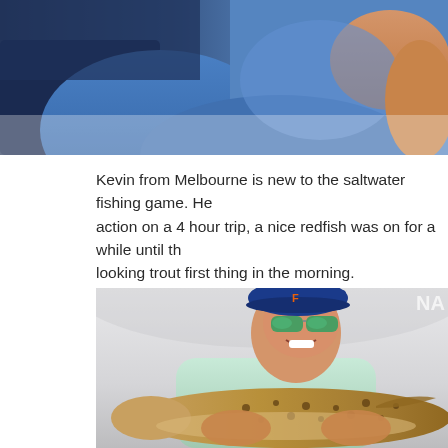[Figure (photo): Partial view of a person in a blue long-sleeve shirt holding a fish, cropped at top of page]
Kevin from Melbourne is new to the saltwater fishing game. He action on a 4 hour trip, a nice redfish was on for a while until th looking trout first thing in the morning.
[Figure (photo): Man wearing a blue Florida Gators cap and green mirrored sunglasses, smiling, holding a large spotted trout fish. Watermark 'NA' visible in top right corner.]